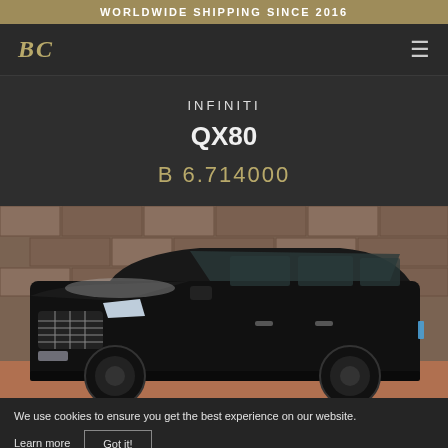WORLDWIDE SHIPPING SINCE 2016
[Figure (logo): BC logo in italic bold gold serif font]
INFINITI
QX80
B 6.714000
[Figure (photo): Black Infiniti QX80 luxury SUV parked in front of a stone wall, front three-quarter view]
We use cookies to ensure you get the best experience on our website.
Learn more  Got it!